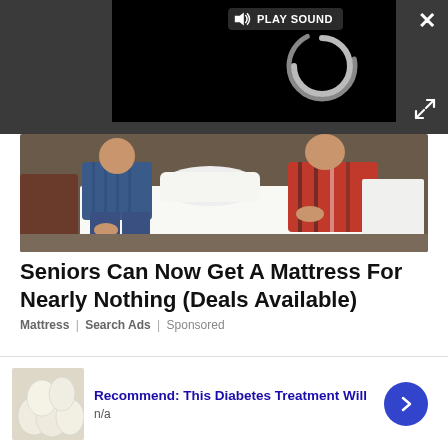[Figure (screenshot): Video player overlay on dark grey background showing a black video panel with a loading spinner and a 'PLAY SOUND' button. Close (X) button top right, expand icon bottom right.]
[Figure (photo): Photo of a man and woman sitting on the edge of a white bed, testing a mattress.]
Seniors Can Now Get A Mattress For Nearly Nothing (Deals Available)
Mattress | Search Ads | Sponsored
[Figure (screenshot): Second advertisement: thumbnail image of white eggs on left, blue bold title 'Recommend: This Diabetes Treatment Will', subtitle 'n/a', blue circle arrow button on right. Small X close button top right.]